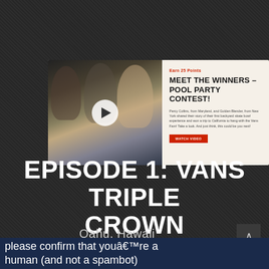[Figure (screenshot): Banner card showing a photo of people at an event with a play button, alongside text about winning a Pool Party Contest with 'MEET THE WINNERS – POOL PARTY CONTEST!' heading, description text, and a red 'watch video' button. Shows 'Earn 25 Points' label in red.]
EPISODE 1: VANS TRIPLE CROWN
Oahu, Hawaii
please confirm that youâ€™re a human (and not a spambot)